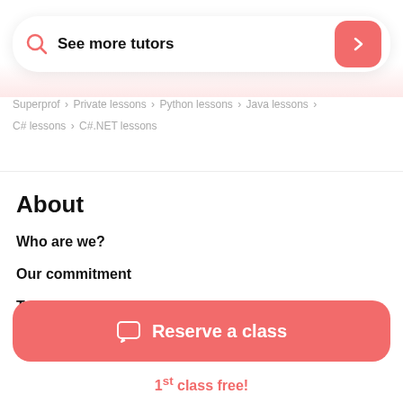See more tutors
Superprof > Private lessons > Python lessons > Java lessons > C# lessons > C#.NET lessons
About
Who are we?
Our commitment
Terms & Conditions
Privacy Policy
Reserve a class
1st class free!